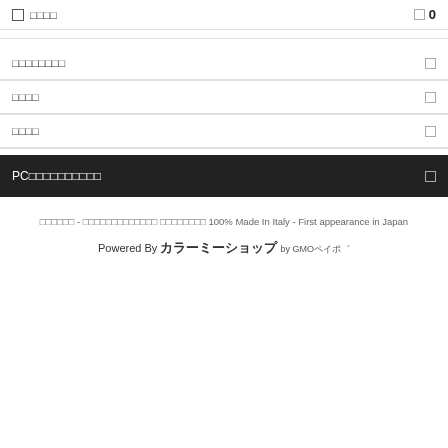□ □□□□   □ 0
□□□□□□□□   □
□□□□   □
□□□□   □
PC□□□□□□□□□□   □
□□□□□□ - □□□□□□□□□□□□□ □□□□□□□□ 100% Made In Italy - First appearance in Japan
Powered By カラーミーショップ by GMOペイポ゛